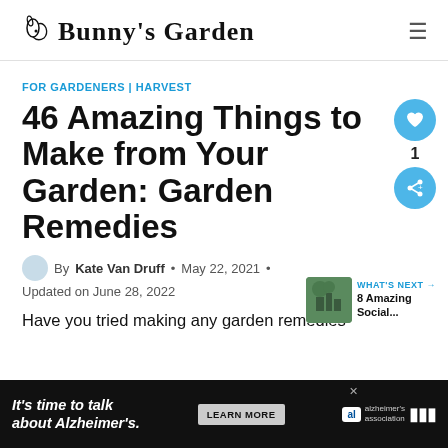Bunny's Garden
FOR GARDENERS | HARVEST
46 Amazing Things to Make from Your Garden: Garden Remedies
By Kate Van Druff • May 22, 2021 • Updated on June 28, 2022
Have you tried making any garden remedies
[Figure (screenshot): Advertisement banner: 'It's time to talk about Alzheimer's.' with LEARN MORE button and alzheimer's association logo]
[Figure (other): WHAT'S NEXT arrow button and 8 Amazing Social... text with thumbnail image]
[Figure (other): Heart/like button showing 1 like, and share button]
[Figure (logo): Bunny's Garden logo with bunny icon]